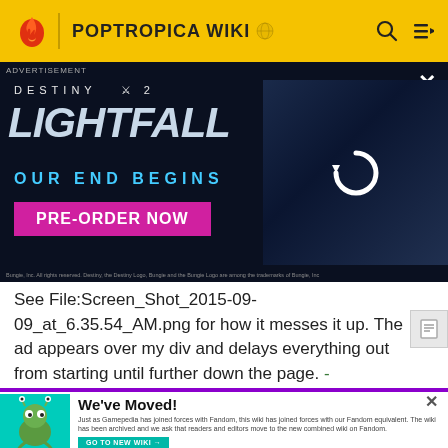POPTROPICA WIKI
[Figure (screenshot): Destiny 2 Lightfall advertisement banner with dark background, large italic text 'LIGHTFALL', tagline 'OUR END BEGINS', pink pre-order button, TEEN ESRB rating, and a character image on the right with a refresh icon overlay.]
See File:Screen_Shot_2015-09-09_at_6.35.54_AM.png for how it messes it up. The ad appears over my div and delays everything out from starting until further down the page. -BenTheTechy(Talk)Admin 10:45, 9 September 2015 (UTC)
[Figure (screenshot): We've Moved! notification banner with teal background image on left showing cartoon creature, and text explaining the wiki has joined forces with Fandom, with a GO TO NEW WIKI button.]